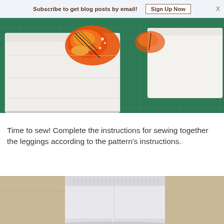Subscribe to get blog posts by email!  Sign Up Now  X
[Figure (photo): Two folded white fabric pieces with a monarch butterfly print on a green cutting mat]
Time to sew! Complete the instructions for sewing together the leggings according to the pattern’s instructions.
[Figure (photo): White baby leggings laid flat on a tan/wood surface, showing waistband ribbing]